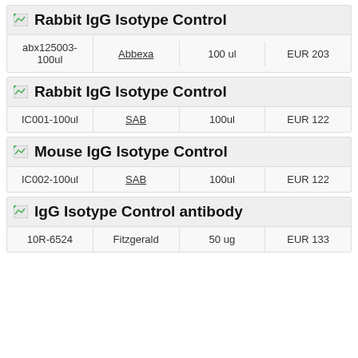| Product | Supplier | Size | Price |
| --- | --- | --- | --- |
| abx125003-100ul | Abbexa | 100 ul | EUR 203 |
| Product | Supplier | Size | Price |
| --- | --- | --- | --- |
| IC001-100ul | SAB | 100ul | EUR 122 |
| Product | Supplier | Size | Price |
| --- | --- | --- | --- |
| IC002-100ul | SAB | 100ul | EUR 122 |
| Product | Supplier | Size | Price |
| --- | --- | --- | --- |
| 10R-6524 | Fitzgerald | 50 ug | EUR 133 |